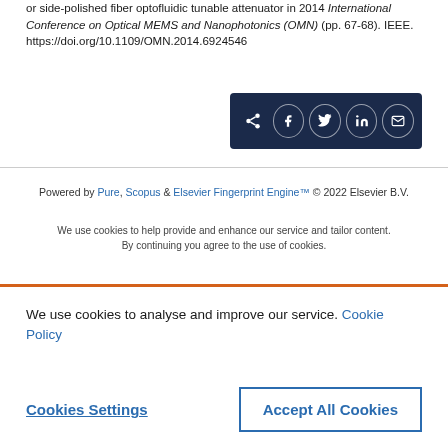or side-polished fiber optofluidic tunable attenuator in 2014 International Conference on Optical MEMS and Nanophotonics (OMN) (pp. 67-68). IEEE. https://doi.org/10.1109/OMN.2014.6924546
[Figure (other): Social share bar with icons for share, Facebook, Twitter, LinkedIn, and email on a dark navy background]
Powered by Pure, Scopus & Elsevier Fingerprint Engine™ © 2022 Elsevier B.V.
We use cookies to help provide and enhance our service and tailor content. By continuing you agree to the use of cookies.
We use cookies to analyse and improve our service. Cookie Policy
Cookies Settings
Accept All Cookies